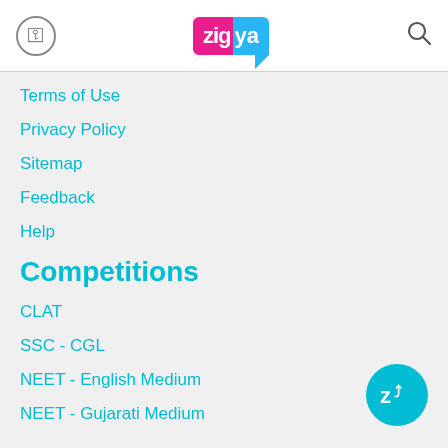Zigya
Terms of Use
Privacy Policy
Sitemap
Feedback
Help
Competitions
CLAT
SSC - CGL
NEET - English Medium
NEET - Gujarati Medium